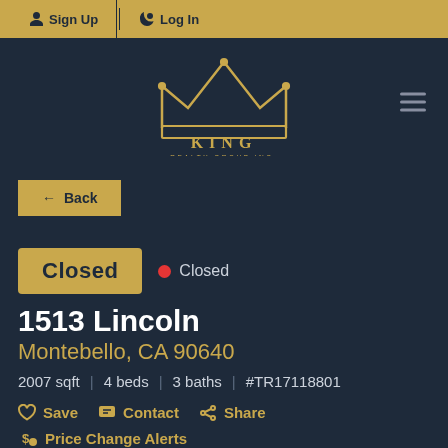Sign Up  Log In
[Figure (logo): King Realty Group Inc. crown logo in gold on dark navy background]
← Back
Closed  ● Closed
1513 Lincoln
Montebello, CA 90640
2007 sqft  |  4 beds  |  3 baths  |  #TR17118801
♡ Save  ✉ Contact  ⬆ Share
$ Price Change Alerts